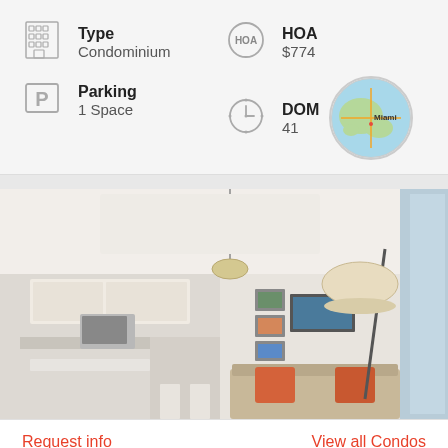Type
Condominium
HOA
$774
Parking
1 Space
DOM
41
[Figure (map): Small circular map thumbnail showing Miami area]
[Figure (photo): Interior photo of a modern condominium showing kitchen and living room with sofa and orange pillows]
Request info
View all Condos